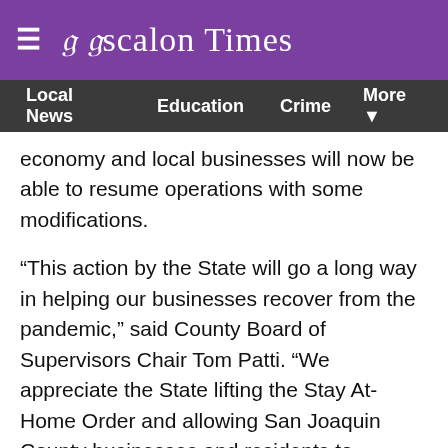Escalon Times
Local News | Education | Crime | More
economy and local businesses will now be able to resume operations with some modifications.
“This action by the State will go a long way in helping our businesses recover from the pandemic,” said County Board of Supervisors Chair Tom Patti. “We appreciate the State lifting the Stay At-Home Order and allowing San Joaquin County businesses and residents to reopen. I also want to recognize our local businesses for being patient during this hardship and taking all necessary safety measures to either continue operation or to now reopen and bring back local jobs.”
Effective Jan. 25, the following businesses will be able to operate